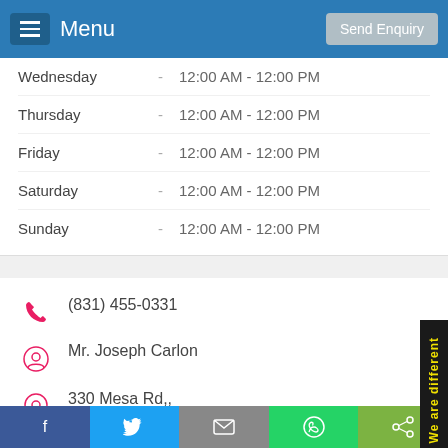Menu | Send Enquiry
| Day |  | Hours |
| --- | --- | --- |
| Wednesday | - | 12:00 AM - 12:00 PM |
| Thursday | - | 12:00 AM - 12:00 PM |
| Friday | - | 12:00 AM - 12:00 PM |
| Saturday | - | 12:00 AM - 12:00 PM |
| Sunday | - | 12:00 AM - 12:00 PM |
(831) 455-0331
Mr. Joseph Carlon
330 Mesa Rd,, Salinas, CA 93908
Visit Website
View On Map
We are different
Facebook | Twitter | Email | WhatsApp | Share